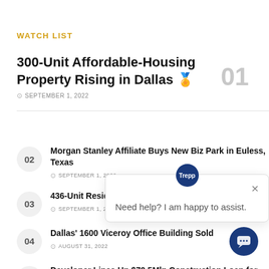WATCH LIST
300-Unit Affordable-Housing Property Rising in Dallas 🏅
SEPTEMBER 1, 2022
Morgan Stanley Affiliate Buys New Biz Park in Euless, Texas — SEPTEMBER 1, 2022
436-Unit Residentia… — SEPTEMBER 1, 2022
Dallas' 1600 Viceroy Office Building Sold — AUGUST 31, 2022
Developer Lines Up $79.5Mln Construction Loan for Dallas-Area Office Project
[Figure (screenshot): Chat widget overlay with Trepp avatar and message: Need help? I am happy to assist.]